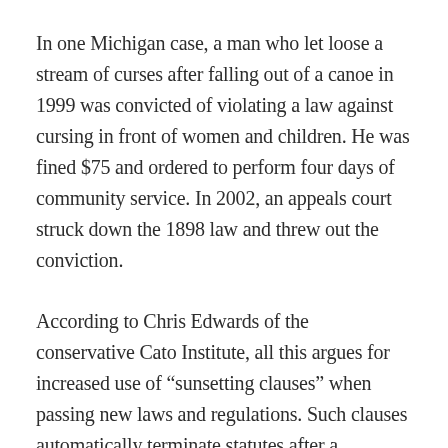In one Michigan case, a man who let loose a stream of curses after falling out of a canoe in 1999 was convicted of violating a law against cursing in front of women and children. He was fined $75 and ordered to perform four days of community service. In 2002, an appeals court struck down the 1898 law and threw out the conviction.
According to Chris Edwards of the conservative Cato Institute, all this argues for increased use of “sunsetting clauses” when passing new laws and regulations. Such clauses automatically terminate statutes after a specified period, unless the legislature expressly reauthorizes